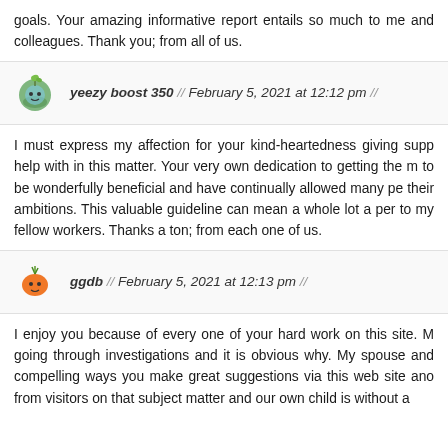goals. Your amazing informative report entails so much to me and colleagues. Thank you; from all of us.
yeezy boost 350 // February 5, 2021 at 12:12 pm //
I must express my affection for your kind-heartedness giving supp help with in this matter. Your very own dedication to getting the m to be wonderfully beneficial and have continually allowed many pe their ambitions. This valuable guideline can mean a whole lot a per to my fellow workers. Thanks a ton; from each one of us.
ggdb // February 5, 2021 at 12:13 pm //
I enjoy you because of every one of your hard work on this site. M going through investigations and it is obvious why. My spouse and compelling ways you make great suggestions via this web site ano from visitors on that subject matter and our own child is without a